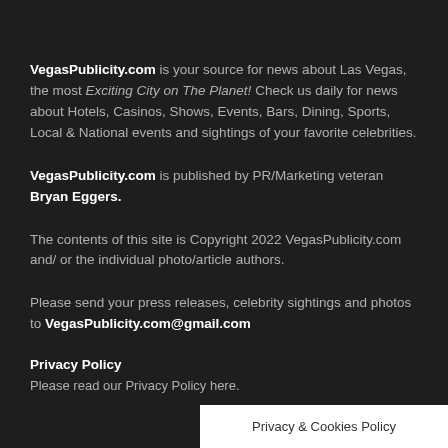VegasPublicity.com is your source for news about Las Vegas, the most Exciting City on The Planet! Check us daily for news about Hotels, Casinos, Shows, Events, Bars, Dining, Sports, Local & National events and sightings of your favorite celebrities.
VegasPublicity.com is published by PR/Marketing veteran Bryan Eggers.
The contents of this site is Copyright 2022 VegasPublicity.com and/ or the individual photo/article authors.
Please send your press releases, celebrity sightings and photos to VegasPublicity.com@gmail.com
Privacy Policy
Please read our Privacy Policy here.
Privacy & Cookies Policy